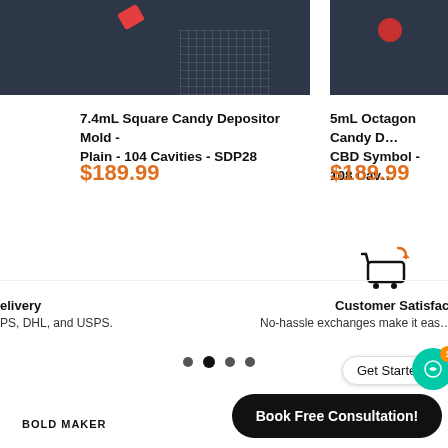[Figure (photo): Product photo of 7.4mL Square Candy Depositor Mold on dark background with grid pattern]
[Figure (photo): Product photo of 5mL Octagon Candy Depositor Mold on dark background]
7.4mL Square Candy Depositor Mold - Plain - 104 Cavities - SDP28
$189.99
5mL Octagon Candy D... CBD Symbol - 108 Cav...
$189.99
[Figure (illustration): Shopping cart with return arrow icon]
elivery
Customer Satisfactio...
PS, DHL, and USPS.
No-hassle exchanges make it eas...
[Figure (other): Pagination dots, four dots with second active]
Get Started!
[Figure (illustration): Chat support icon with badge showing 1]
BOLD MAKER
Book Free Consultation!